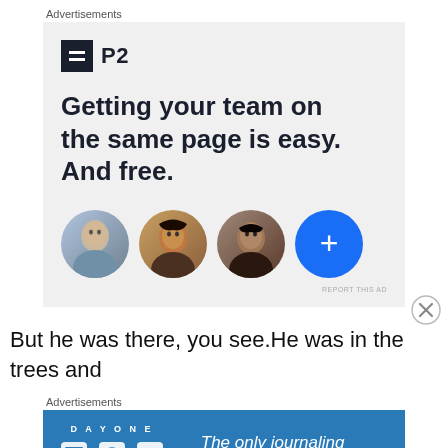Advertisements
[Figure (infographic): P2 advertisement with logo, headline 'Getting your team on the same page is easy. And free.' and four circular avatars including a blue plus button]
But he was there, you see.He was in the trees and
Advertisements
[Figure (infographic): Day One journaling app advertisement with logo, icons and text 'The only journaling app you'll ever need.']